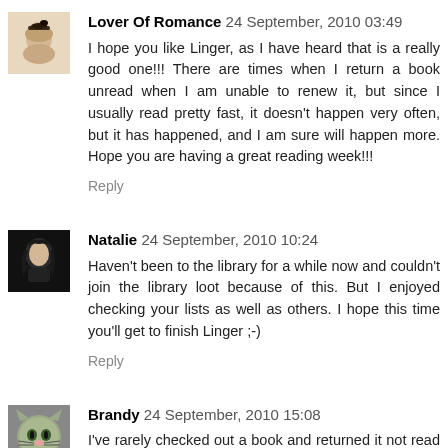Lover Of Romance 24 September, 2010 03:49
I hope you like Linger, as I have heard that is a really good one!!! There are times when I return a book unread when I am unable to renew it, but since I usually read pretty fast, it doesn't happen very often, but it has happened, and I am sure will happen more. Hope you are having a great reading week!!!
Reply
Natalie 24 September, 2010 10:24
Haven't been to the library for a while now and couldn't join the library loot because of this. But I enjoyed checking your lists as well as others. I hope this time you'll get to finish Linger ;-)
Reply
Brandy 24 September, 2010 15:08
I've rarely checked out a book and returned it not read and